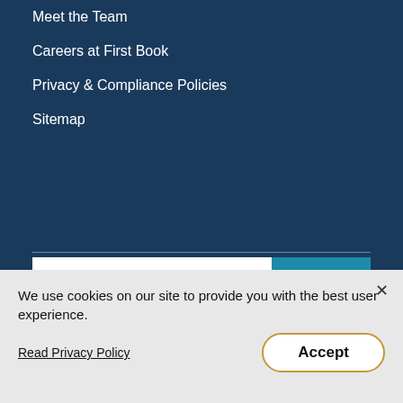Meet the Team
Careers at First Book
Privacy & Compliance Policies
Sitemap
[Figure (screenshot): Search bar with text input reading 'Search ...' and a teal Search button]
[Figure (logo): Charity Navigator badge: 'GIVE WITH CONFIDENCE' 100% Accountability and Transparency Rating]
[Figure (logo): GuideStar Exchange GOLD PARTICIPANT badge]
We use cookies on our site to provide you with the best user experience.
Read Privacy Policy
Accept